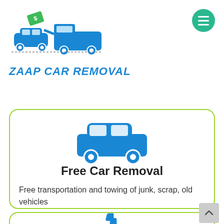[Figure (logo): Zaap Car Removal logo: a tow truck with a car and dollar sign bill, in blue and green]
ZAAP CAR REMOVAL
[Figure (illustration): Blue car icon (front view) inside a card with green border]
Free Car Removal
Free transportation and towing of junk, scrap, old vehicles
[Figure (illustration): Blue thumbs up icon, partially visible at bottom of page]